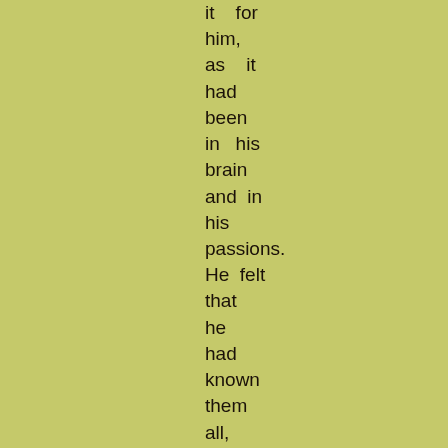it   for him, as   it had been in   his brain and  in his passions. He  felt that he had known them all, those strange